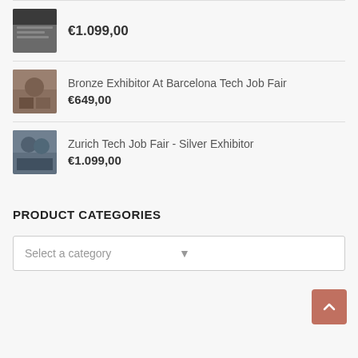€1.099,00
Bronze Exhibitor At Barcelona Tech Job Fair €649,00
Zurich Tech Job Fair - Silver Exhibitor €1.099,00
PRODUCT CATEGORIES
Select a category